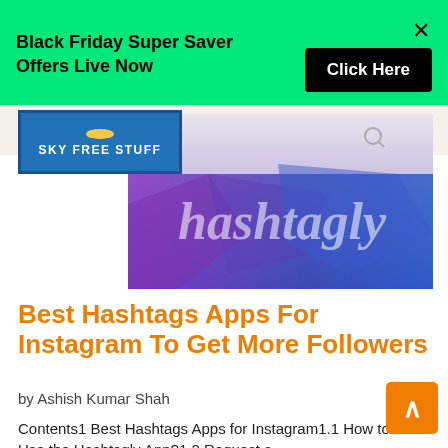Black Friday Super Saver Offers Live Now  Click Here
[Figure (screenshot): Hashtagly website header image with purple-to-blue gradient background and italic white script text reading 'hashtagly']
Best Hashtags Apps For Instagram To Get More Followers
by Ashish Kumar Shah
Contents1 Best Hashtags Apps for Instagram1.1 How to Use the Hashtagly App?1.2 Request a